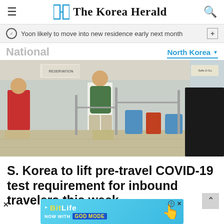The Korea Herald
Yoon likely to move into new residence early next month
National
North Korea
[Figure (photo): Travelers standing in line at an airport check-in counter with luggage]
S. Korea to lift pre-travel COVID-19 test requirement for inbound travelers this week
[Figure (other): BitLife advertisement banner - NOW WITH GOD MODE]